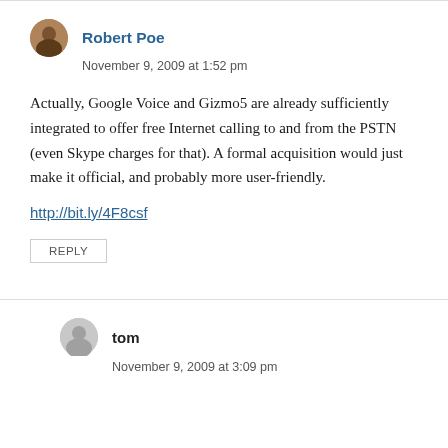Robert Poe
November 9, 2009 at 1:52 pm
Actually, Google Voice and Gizmo5 are already sufficiently integrated to offer free Internet calling to and from the PSTN (even Skype charges for that). A formal acquisition would just make it official, and probably more user-friendly.
http://bit.ly/4F8csf
REPLY
tom
November 9, 2009 at 3:09 pm